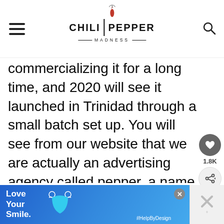CHILI PEPPER MADNESS
commercializing it for a long time, and 2020 will see it launched in Trinidad through a small batch set up. You will see from our website that we are actually an advertising agency called pepper, a name that was inspired by my Mom's talent with turning peppers into something really special. We will add info on our causes to
[Figure (infographic): Heart/like button with 1.8K count, share button, and What's Next panel showing Peach-Scotch Bonnet Hot... advertisement]
[Figure (infographic): Advertisement banner: Love Your Smile. with blue background, mask graphic, #HelpByDesign hashtag, and close button]